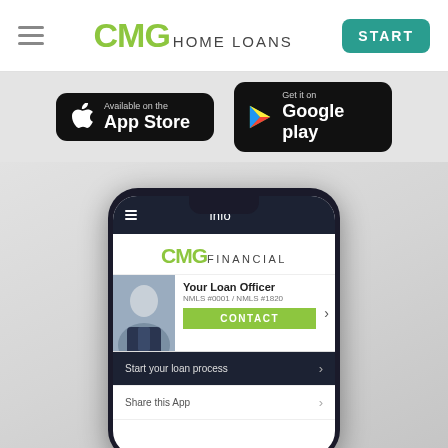CMG HOME LOANS — START
[Figure (screenshot): App Store badge (Available on the App Store)]
[Figure (screenshot): Google Play badge (Get it on Google play)]
[Figure (screenshot): CMG Home Loans mobile app screenshot on iPhone showing CMG Financial branding, Your Loan Officer section (NMLS #0001 / NMLS #1820), CONTACT button, Start your loan process menu item, and Share this App menu item]